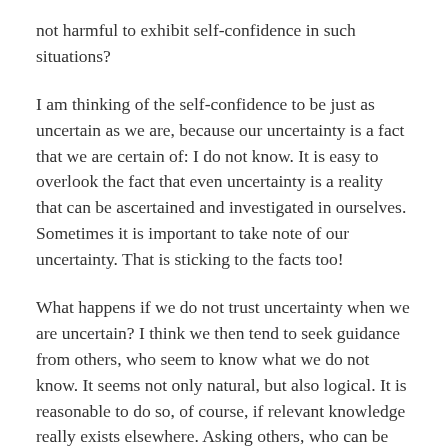not harmful to exhibit self-confidence in such situations?
I am thinking of the self-confidence to be just as uncertain as we are, because our uncertainty is a fact that we are certain of: I do not know. It is easy to overlook the fact that even uncertainty is a reality that can be ascertained and investigated in ourselves. Sometimes it is important to take note of our uncertainty. That is sticking to the facts too!
What happens if we do not trust uncertainty when we are uncertain? I think we then tend to seek guidance from others, who seem to know what we do not know. It seems not only natural, but also logical. It is reasonable to do so, of course, if relevant knowledge really exists elsewhere. Asking others, who can be judged to know better, also requires a significant measure of self-confidence and good judgment, in the midst of